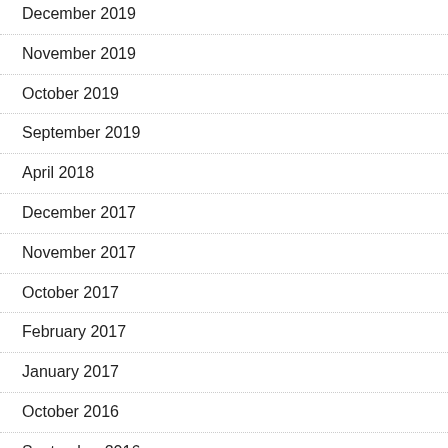December 2019
November 2019
October 2019
September 2019
April 2018
December 2017
November 2017
October 2017
February 2017
January 2017
October 2016
September 2016